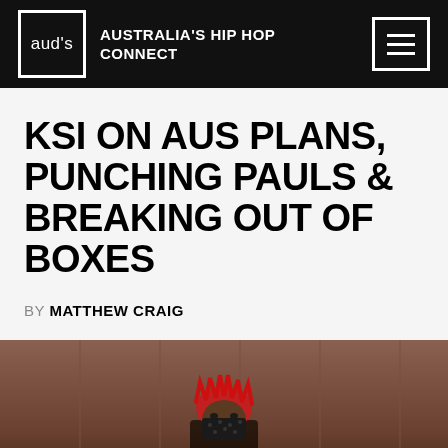aud's$ AUSTRALIA'S HIP HOP CONNECT
KSI ON AUS PLANS, PUNCHING PAULS & BREAKING OUT OF BOXES
BY MATTHEW CRAIG
[Figure (photo): Person wearing a red bandana on their head and a black paisley bandana around their face, photographed against a brown/grey curtain background]